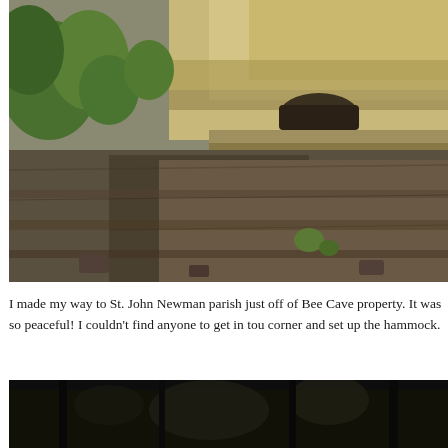[Figure (photo): Outdoor photo of a rocky cliff face with exposed limestone rock layers and sparse green vegetation/bushes growing along the upper left portion. The rock face is tan and brown, with layers of stacked stone visible.]
I made my way to St. John Newman parish just off of Bee Cave property. It was so peaceful! I couldn't find anyone to get in tou corner and set up the hammock.
[Figure (photo): A dark, nighttime or heavily shaded outdoor photograph showing trees or structures, mostly dark with some lighter areas visible.]